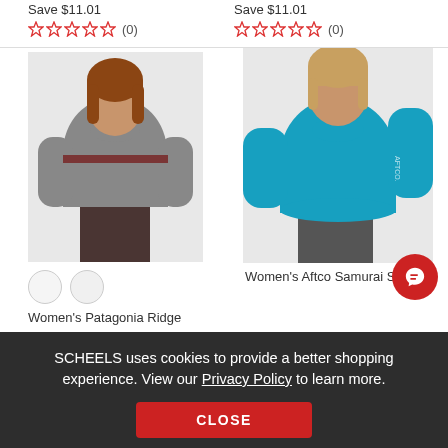Save $11.01
Save $11.01
[Figure (screenshot): Star rating 0 reviews (0) for product 1]
[Figure (screenshot): Star rating 0 reviews (0) for product 2]
[Figure (photo): Women's Patagonia Ridge sweatshirt in grey]
[Figure (photo): Women's Aftco Samurai Sun long-sleeve shirt in teal/blue]
Women's Patagonia Ridge
Women's Aftco Samurai Sun
SCHEELS uses cookies to provide a better shopping experience. View our Privacy Policy to learn more.
CLOSE